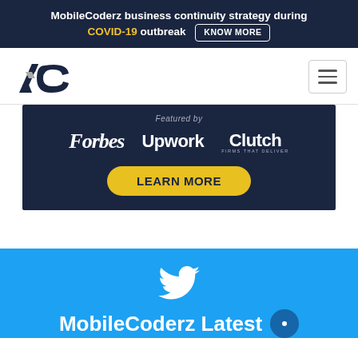MobileCoderz business continuity strategy during COVID-19 outbreak KNOW MORE
[Figure (logo): MobileCoderz logo with stylized AC letters in dark navy]
[Figure (screenshot): Featured by Forbes, Upwork, Clutch dark navy banner with LEARN MORE yellow button]
[Figure (infographic): Twitter bird icon on blue background above MobileCoderz Latest text]
MobileCoderz Latest